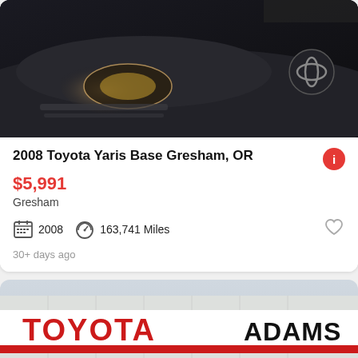[Figure (photo): Close-up of dark-colored Toyota car front headlight and hood, dark background.]
2008 Toyota Yaris Base Gresham, OR
$5,991
Gresham
2008   163,741 Miles
30+ days ago
[Figure (photo): Gray Toyota Yaris sedan parked in front of Adams Toyota dealership building with red Toyota signage. Overlay button reads 'See photo ›'.]